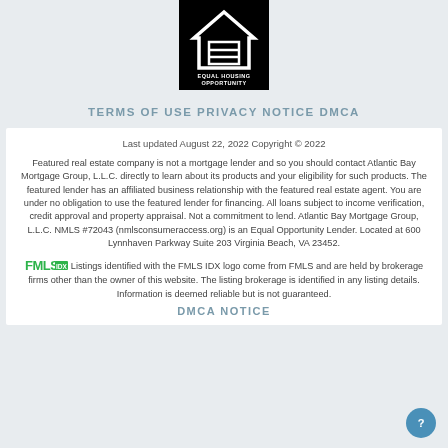[Figure (logo): Equal Housing Opportunity logo — white house with equal sign on black background, with text EQUAL HOUSING OPPORTUNITY below]
TERMS OF USE PRIVACY NOTICE DMCA
Last updated August 22, 2022 Copyright © 2022
Featured real estate company is not a mortgage lender and so you should contact Atlantic Bay Mortgage Group, L.L.C. directly to learn about its products and your eligibility for such products. The featured lender has an affiliated business relationship with the featured real estate agent. You are under no obligation to use the featured lender for financing. All loans subject to income verification, credit approval and property appraisal. Not a commitment to lend. Atlantic Bay Mortgage Group, L.L.C. NMLS #72043 (nmlsconsumeraccess.org) is an Equal Opportunity Lender. Located at 600 Lynnhaven Parkway Suite 203 Virginia Beach, VA 23452.
Listings identified with the FMLS IDX logo come from FMLS and are held by brokerage firms other than the owner of this website. The listing brokerage is identified in any listing details. Information is deemed reliable but is not guaranteed.
DMCA NOTICE